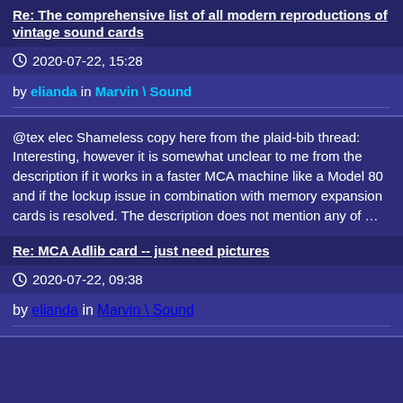Re: The comprehensive list of all modern reproductions of vintage sound cards
2020-07-22, 15:28
by elianda in Marvin \ Sound
@tex elec Shameless copy here from the plaid-bib thread: Interesting, however it is somewhat unclear to me from the description if it works in a faster MCA machine like a Model 80 and if the lockup issue in combination with memory expansion cards is resolved. The description does not mention any of …
Re: MCA Adlib card -- just need pictures
2020-07-22, 09:38
by elianda in Marvin \ Sound